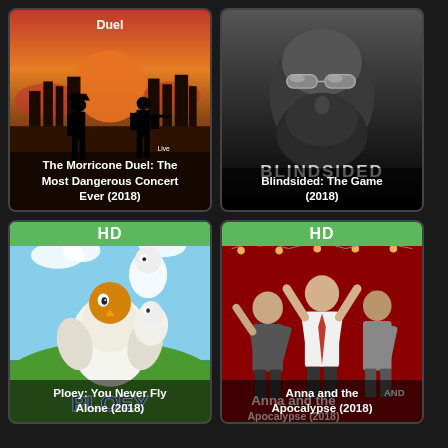[Figure (photo): Movie poster for The Morricone Duel: The Most Dangerous Concert Ever (2018) showing silhouettes of two figures in a western duel scene with orange sky]
The Morricone Duel: The Most Dangerous Concert Ever (2018)
[Figure (photo): Movie poster for Blindsided: The Game (2018) showing a bearded man with reflective sunglasses, dark monochrome photo]
Blindsided: The Game (2018)
[Figure (photo): Movie poster for Ploey: You Never Fly Alone (2018) showing animated cartoon birds, HD badge at top]
Ploey: You Never Fly Alone (2018)
[Figure (photo): Movie poster for Anna and the Apocalypse (2018) showing three young people on a red background, HD badge at top]
Anna and the Apocalypse (2018)